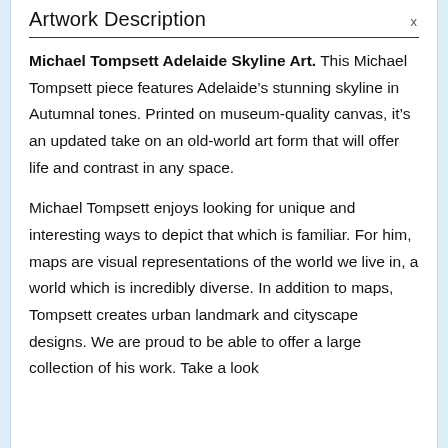Artwork Description
Michael Tompsett Adelaide Skyline Art. This Michael Tompsett piece features Adelaide's stunning skyline in Autumnal tones. Printed on museum-quality canvas, it's an updated take on an old-world art form that will offer life and contrast in any space.
Michael Tompsett enjoys looking for unique and interesting ways to depict that which is familiar. For him, maps are visual representations of the world we live in, a world which is incredibly diverse. In addition to maps, Tompsett creates urban landmark and cityscape designs. We are proud to be able to offer a large collection of his work. Take a look